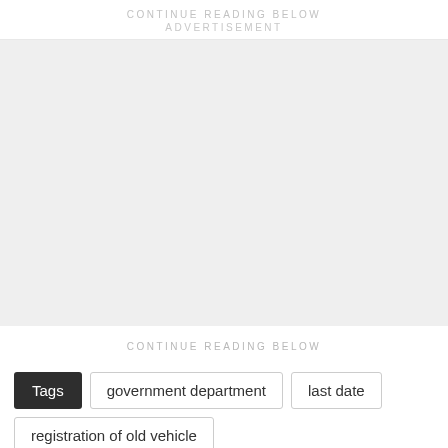CONTINUE READING BELOW
ADVERTISEMENT
[Figure (other): Advertisement placeholder block — light gray empty rectangle]
CONTINUE READING BELOW
Tags  government department  last date  registration of old vehicle